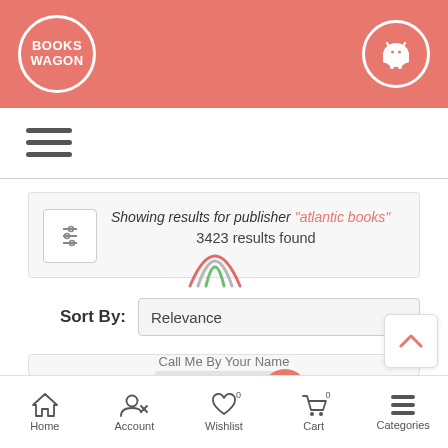BooksWagon header with logo and Android icon
[Figure (screenshot): Hamburger menu icon (three horizontal lines)]
Showing results for publisher "atlantic books" 3423 results found
Sort By: Relevance
[Figure (photo): Product card with 23% discount badge and book image placeholder, title: Call Me By Your Name]
Home | Account | Wishlist 0 | Cart 0 | Categories